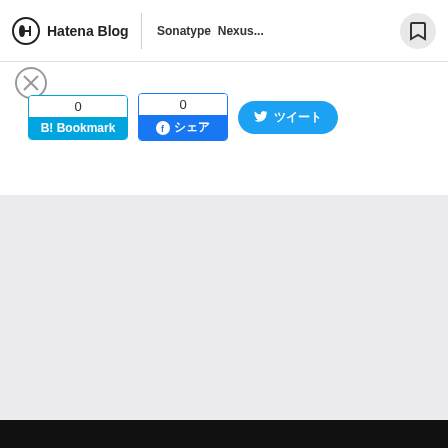Hatena Blog | ￼￼￼￼￼￼￼￼￼￼￼￼￼￼ Sonatype ￼ Nexus...
[Figure (screenshot): Social share buttons: B! Bookmark count 0, Facebook share count 0, Twitter share button]
[Figure (other): Gray content area placeholder]
[Figure (other): Black footer bar]